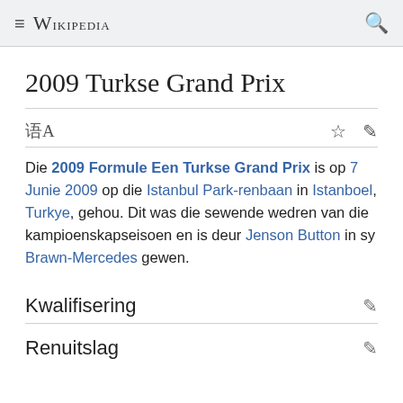Wikipedia
2009 Turkse Grand Prix
Die 2009 Formule Een Turkse Grand Prix is op 7 Junie 2009 op die Istanbul Park-renbaan in Istanboel, Turkye, gehou. Dit was die sewende wedren van die kampioenskapseisoen en is deur Jenson Button in sy Brawn-Mercedes gewen.
Kwalifisering
Renuitslag